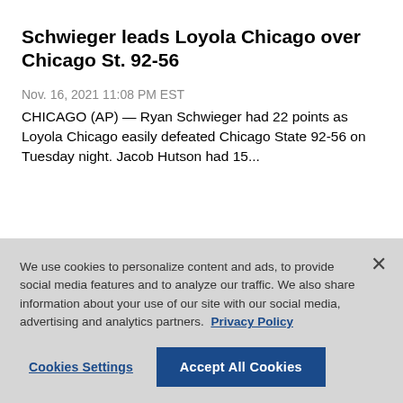Schwieger leads Loyola Chicago over Chicago St. 92-56
Nov. 16, 2021 11:08 PM EST
CHICAGO (AP) — Ryan Schwieger had 22 points as Loyola Chicago easily defeated Chicago State 92-56 on Tuesday night. Jacob Hutson had 15...
We use cookies to personalize content and ads, to provide social media features and to analyze our traffic. We also share information about your use of our site with our social media, advertising and analytics partners. Privacy Policy
Cookies Settings
Accept All Cookies